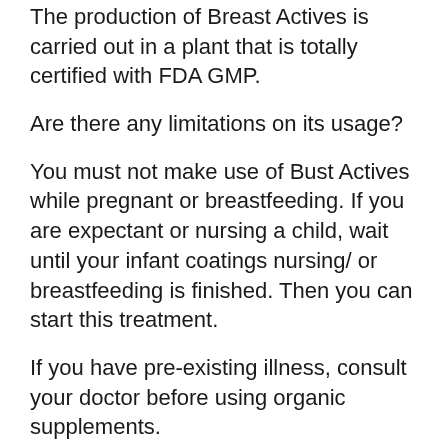The production of Breast Actives is carried out in a plant that is totally certified with FDA GMP.
Are there any limitations on its usage?
You must not make use of Bust Actives while pregnant or breastfeeding. If you are expectant or nursing a child, wait until your infant coatings nursing/ or breastfeeding is finished. Then you can start this treatment.
If you have pre-existing illness, consult your doctor before using organic supplements.
Dosage
Business Tits